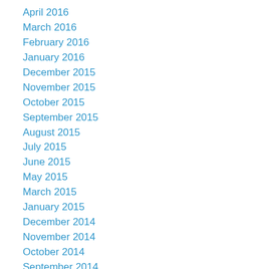April 2016
March 2016
February 2016
January 2016
December 2015
November 2015
October 2015
September 2015
August 2015
July 2015
June 2015
May 2015
March 2015
January 2015
December 2014
November 2014
October 2014
September 2014
August 2014
July 2014